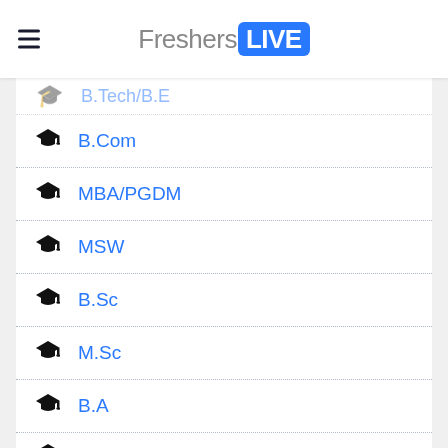FreshersLIVE
B.Com
MBA/PGDM
MSW
B.Sc
M.Sc
B.A
M.A